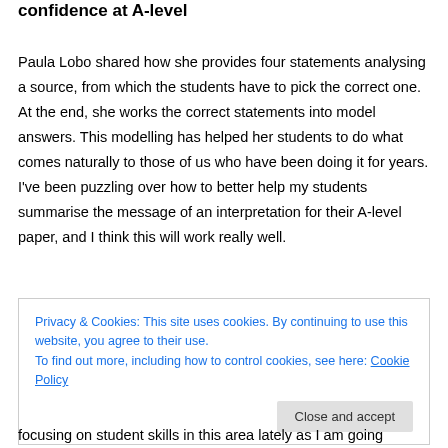confidence at A-level
Paula Lobo shared how she provides four statements analysing a source, from which the students have to pick the correct one. At the end, she works the correct statements into model answers. This modelling has helped her students to do what comes naturally to those of us who have been doing it for years. I've been puzzling over how to better help my students summarise the message of an interpretation for their A-level paper, and I think this will work really well.
Privacy & Cookies: This site uses cookies. By continuing to use this website, you agree to their use.
To find out more, including how to control cookies, see here: Cookie Policy
focusing on student skills in this area lately as I am going